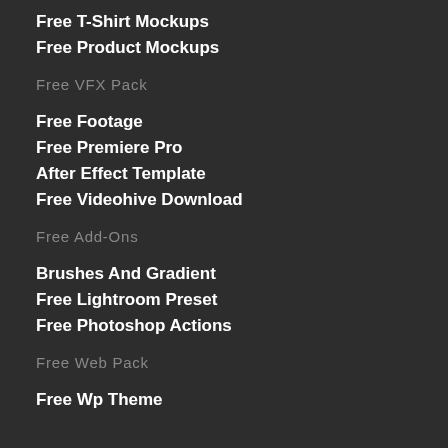Free T-Shirt Mockups
Free Product Mockups
Free VFX Pack
Free Footage
Free Premiere Pro
After Effect Template
Free Videohive Download
Free Add-Ons
Brushes And Gradient
Free Lightroom Preset
Free Photoshop Actions
Free Web Pack
Free Wp Theme